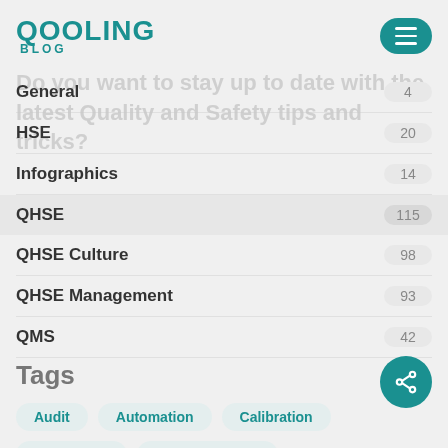QOOLING BLOG
Do you want to stay up to date with the latest Quality and Safety tips and tricks?
General 4
HSE 20
Infographics 14
QHSE 115
QHSE Culture 98
QHSE Management 93
QMS 42
Tags
Audit
Automation
Calibration
Challenges
Communication